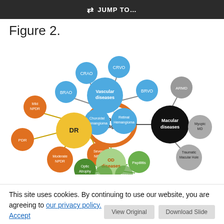JUMP TO...
Figure 2.
[Figure (network-graph): Network diagram showing Fundus images as the central node, connected to four disease category clusters: Vascular diseases (blue nodes: CRVO, CRAO, BRAO, BRVO, Choroidal Hemangioma, Retinal Hemangioma), DR/Diabetic Retinopathy (yellow/orange nodes: Mild NPDR, BRAO, PDR, Moderate NPDR, Severe NPDR), Macular diseases (black/gray nodes: ARMD, Myopic MD, Traumatic Macular Hole), and OD diseases (green nodes: Papillitis, Optic Atrophy, Glaucoma, ONH).]
This site uses cookies. By continuing to use our website, you are agreeing to our privacy policy. Accept